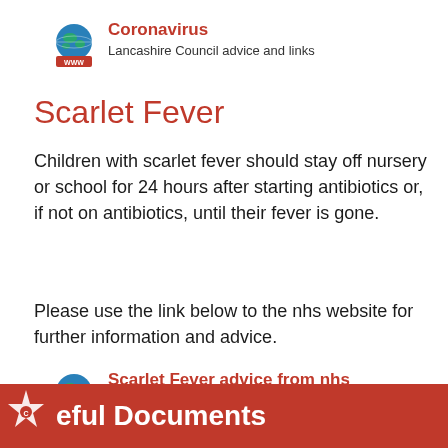[Figure (logo): Globe with WWW label icon for Coronavirus link]
Coronavirus
Lancashire Council advice and links
Scarlet Fever
Children with scarlet fever should stay off nursery or school for 24 hours after starting antibiotics or, if not on antibiotics, until their fever is gone.
Please use the link below to the nhs website for further information and advice.
[Figure (logo): Globe with WWW label icon for NHS Scarlet Fever link]
Scarlet Fever advice from nhs
Scarlet Fever
eful Documents